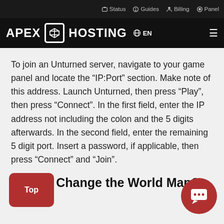Status  Guides  Billing  Panel
APEX HOSTING  EN
To join an Unturned server, navigate to your game panel and locate the “IP:Port” section. Make note of this address. Launch Unturned, then press “Play”, then press “Connect”. In the first field, enter the IP address not including the colon and the 5 digits afterwards. In the second field, enter the remaining 5 digit port. Insert a password, if applicable, then press “Connect” and “Join”.
How to Change the World Map?